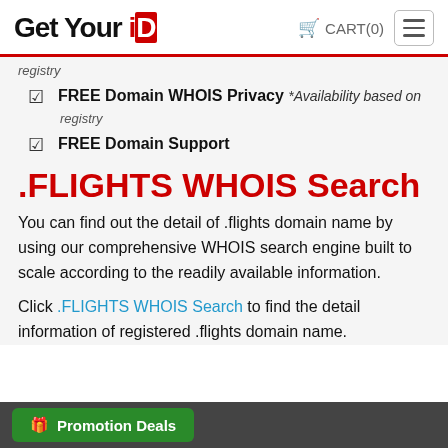GetYourID  CART(0)
registry
FREE Domain WHOIS Privacy *Availability based on registry
FREE Domain Support
.FLIGHTS WHOIS Search
You can find out the detail of .flights domain name by using our comprehensive WHOIS search engine built to scale according to the readily available information.
Click .FLIGHTS WHOIS Search to find the detail information of registered .flights domain name.
Promotion Deals